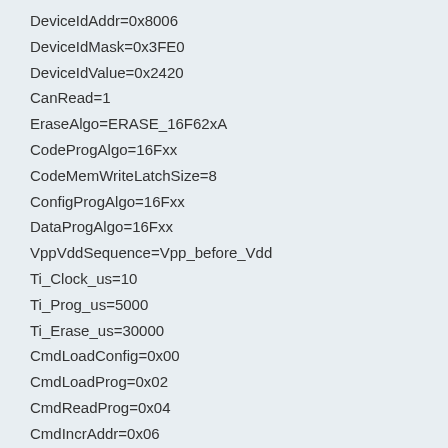DeviceIdAddr=0x8006
DeviceIdMask=0x3FE0
DeviceIdValue=0x2420
CanRead=1
EraseAlgo=ERASE_16F62xA
CodeProgAlgo=16Fxx
CodeMemWriteLatchSize=8
ConfigProgAlgo=16Fxx
DataProgAlgo=16Fxx
VppVddSequence=Vpp_before_Vdd
Ti_Clock_us=10
Ti_Prog_us=5000
Ti_Erase_us=30000
CmdLoadConfig=0x00
CmdLoadProg=0x02
CmdReadProg=0x04
CmdIncrAddr=0x06
CmdBeginProg=0x08
CmdEndProg=0x0A
CmdLoadData=0x03
CmdReadData=0x05
CmdEraseProg=0x09
CmdEraseData=0x0B
CmdEraseChip=-1
CmdBeginProgNoErase=-1